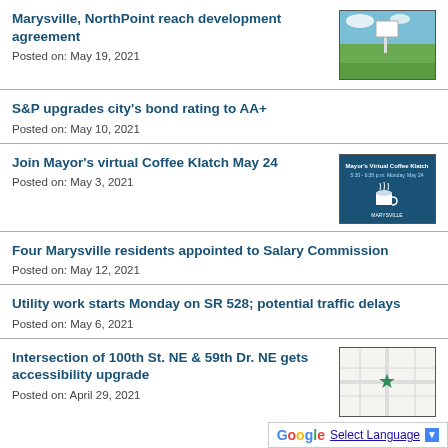Marysville, NorthPoint reach development agreement
Posted on: May 19, 2021
[Figure (photo): Outdoor photo showing a field with a sign, blue sky]
S&P upgrades city's bond rating to AA+
Posted on: May 10, 2021
Join Mayor's virtual Coffee Klatch May 24
Posted on: May 3, 2021
[Figure (illustration): Mayor's Virtual Coffee Klatch event poster, blue background, May 24]
Four Marysville residents appointed to Salary Commission
Posted on: May 12, 2021
Utility work starts Monday on SR 528; potential traffic delays
Posted on: May 6, 2021
Intersection of 100th St. NE & 59th Dr. NE gets accessibility upgrade
Posted on: April 29, 2021
[Figure (map): Map showing intersection location with green star marker]